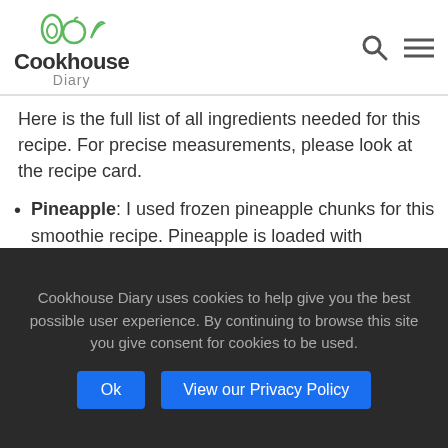Cookhouse Diary
Here is the full list of all ingredients needed for this recipe. For precise measurements, please look at the recipe card.
Pineapple: I used frozen pineapple chunks for this smoothie recipe. Pineapple is loaded with nutrients, and its enzymes can ease digestion. It
Cookhouse Diary uses cookies to help give you the best possible user experience. By continuing to browse this site you give consent for cookies to be used.